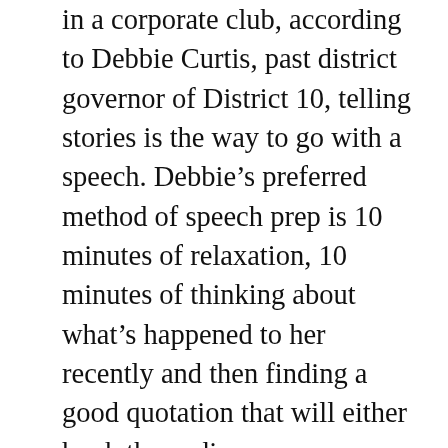in a corporate club, according to Debbie Curtis, past district governor of District 10, telling stories is the way to go with a speech. Debbie's preferred method of speech prep is 10 minutes of relaxation, 10 minutes of thinking about what's happened to her recently and then finding a good quotation that will either hook the audience or wrap up the speech. She's partial to customer service stories for corporate meetings. Every company has to deal with customers – comparing your positive or negative customer service experience with how the company handles theirs gives you a great format to follow. I like this idea. It's not just strictly about your company and everyone has had a good or bad customer experience. People